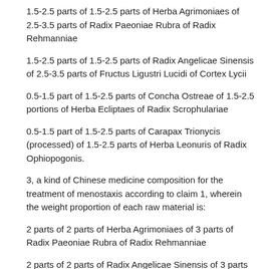1.5–2.5 parts of 1.5–2.5 parts of Herba Agrimoniaes of 2.5–3.5 parts of Radix Paeoniae Rubra of Radix Rehmanniae
1.5–2.5 parts of 1.5–2.5 parts of Radix Angelicae Sinensis of 2.5–3.5 parts of Fructus Ligustri Lucidi of Cortex Lycii
0.5–1.5 part of 1.5–2.5 parts of Concha Ostreae of 1.5–2.5 portions of Herba Ecliptaes of Radix Scrophulariae
0.5–1.5 part of 1.5–2.5 parts of Carapax Trionycis (processed) of 1.5–2.5 parts of Herba Leonuris of Radix Ophiopogonis.
3, a kind of Chinese medicine composition for the treatment of menostaxis according to claim 1, wherein the weight proportion of each raw material is:
2 parts of 2 parts of Herba Agrimoniaes of 3 parts of Radix Paeoniae Rubra of Radix Rehmanniae
2 parts of 2 parts of Radix Angelicae Sinensis of 3 parts of Fructus Ligustri Lucidi of Cortex Lycii
1 part of 2 parts of Concha Ostreae of 2 portions of Herba Ecliptaes of Radix Scrophulariae